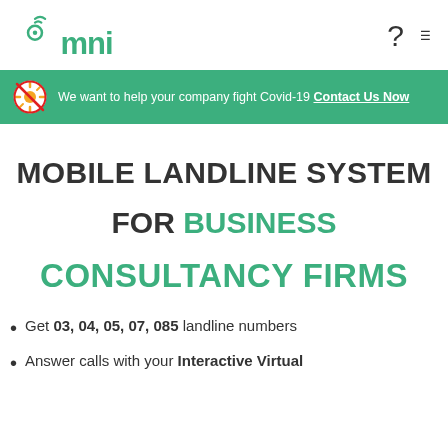[Figure (logo): Omni company logo with green text and wifi signal arcs above the 'o']
We want to help your company fight Covid-19 Contact Us Now
MOBILE LANDLINE SYSTEM FOR BUSINESS CONSULTANCY FIRMS
Get 03, 04, 05, 07, 085 landline numbers
Answer calls with your Interactive Virtual